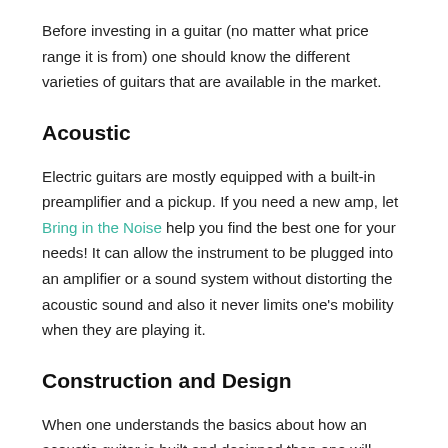Before investing in a guitar (no matter what price range it is from) one should know the different varieties of guitars that are available in the market.
Acoustic
Electric guitars are mostly equipped with a built-in preamplifier and a pickup. If you need a new amp, let Bring in the Noise help you find the best one for your needs! It can allow the instrument to be plugged into an amplifier or a sound system without distorting the acoustic sound and also it never limits one's mobility when they are playing it.
Construction and Design
When one understands the basics about how an acoustic guitar is built and designed than one will always be able to hear and see all the subtle differences which are present in